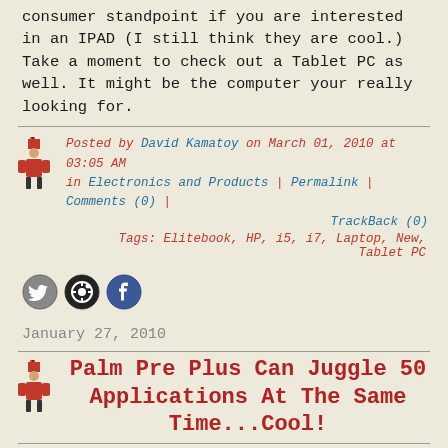consumer standpoint if you are interested in an IPAD (I still think they are cool.) Take a moment to check out a Tablet PC as well. It might be the computer your really looking for.
Posted by David Kamatoy on March 01, 2010 at 03:05 AM in Electronics and Products | Permalink | Comments (0) | TrackBack (0)
Tags: Elitebook, HP, i5, i7, Laptop, New, Tablet PC
[Figure (illustration): Social sharing icons: Twitter, Pinterest, Facebook]
January 27, 2010
Palm Pre Plus Can Juggle 50 Applications At The Same Time...Cool!
So one of the things that people are complaining about droid and other smart phones is amount of memory available for applications and/or applications not being able to be stored on cards